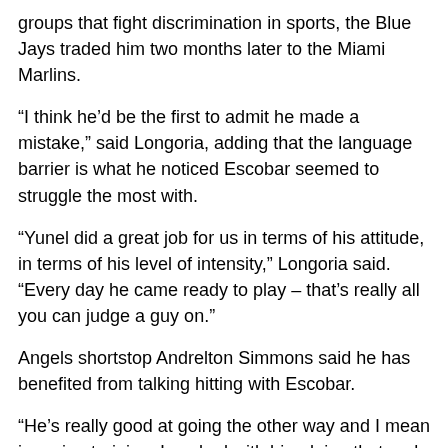groups that fight discrimination in sports, the Blue Jays traded him two months later to the Miami Marlins.
“I think he’d be the first to admit he made a mistake,” said Longoria, adding that the language barrier is what he noticed Escobar seemed to struggle the most with.
“Yunel did a great job for us in terms of his attitude, in terms of his level of intensity,” Longoria said. “Every day he came ready to play – that’s really all you can judge a guy on.”
Angels shortstop Andrelton Simmons said he has benefited from talking hitting with Escobar.
“He’s really good at going the other way and I mean in spring training, I worked with him doing that and it went well,” Simmons said. “I’ll watch him, mostly how he does that, hit the ball the other way, and some stuff will click with me.”
DiSarcina said Angels manager Mike Scioscia has refrained from restricting Escobar and allowed him to be himself. The result, DiSarcina said, has been “model behavior” and “a total